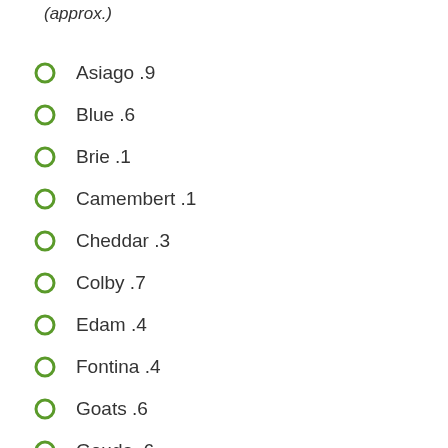(approx.)
Asiago .9
Blue .6
Brie .1
Camembert .1
Cheddar .3
Colby .7
Edam .4
Fontina .4
Goats .6
Gouda .6
Gruyère .1